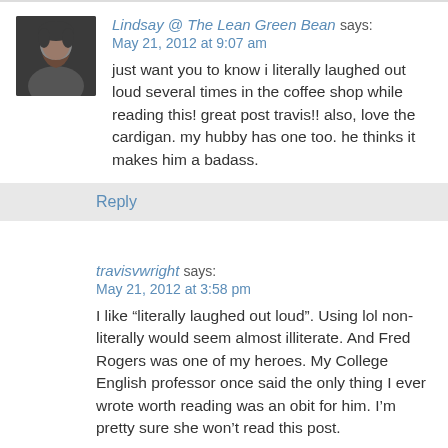Lindsay @ The Lean Green Bean says: May 21, 2012 at 9:07 am
just want you to know i literally laughed out loud several times in the coffee shop while reading this! great post travis!! also, love the cardigan. my hubby has one too. he thinks it makes him a badass.
Reply
travisvwright says: May 21, 2012 at 3:58 pm
I like “literally laughed out loud”. Using lol non-literally would seem almost illiterate. And Fred Rogers was one of my heroes. My College English professor once said the only thing I ever wrote worth reading was an obit for him. I’m pretty sure she won’t read this post.
Reply